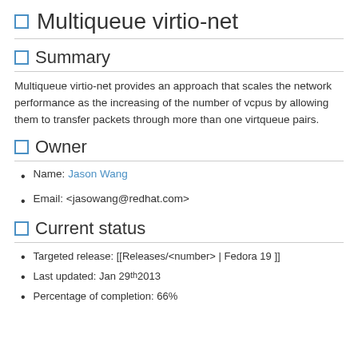Multiqueue virtio-net
Summary
Multiqueue virtio-net provides an approach that scales the network performance as the increasing of the number of vcpus by allowing them to transfer packets through more than one virtqueue pairs.
Owner
Name: Jason Wang
Email: <jasowang@redhat.com>
Current status
Targeted release: [[Releases/<number> | Fedora 19 ]]
Last updated: Jan 29th 2013
Percentage of completion: 66%